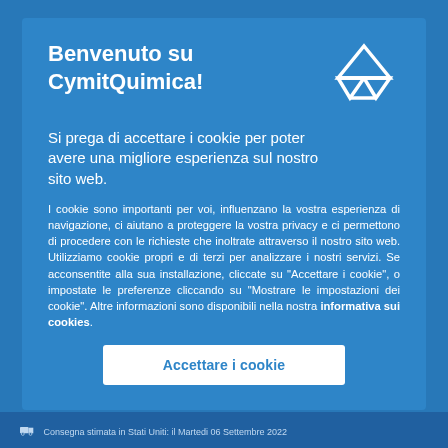Benvenuto su CymitQuimica!
Si prega di accettare i cookie per poter avere una migliore esperienza sul nostro sito web.
I cookie sono importanti per voi, influenzano la vostra esperienza di navigazione, ci aiutano a proteggere la vostra privacy e ci permettono di procedere con le richieste che inoltrate attraverso il nostro sito web. Utilizziamo cookie propri e di terzi per analizzare i nostri servizi. Se acconsentite alla sua installazione, cliccate su "Accettare i cookie", o impostate le preferenze cliccando su "Mostrare le impostazioni dei cookie". Altre informazioni sono disponibili nella nostra informativa sui cookies.
Accettare i cookie
Consegna stimata in Stati Uniti: il Martedi 06 Settembre 2022